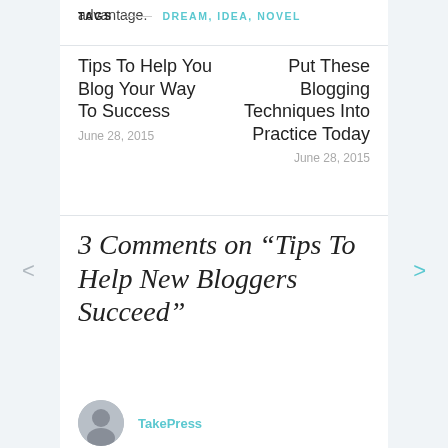advantage.
TAGS — DREAM, IDEA, NOVEL
Tips To Help You Blog Your Way To Success
June 28, 2015
Put These Blogging Techniques Into Practice Today
June 28, 2015
3 Comments on “Tips To Help New Bloggers Succeed”
TakePress